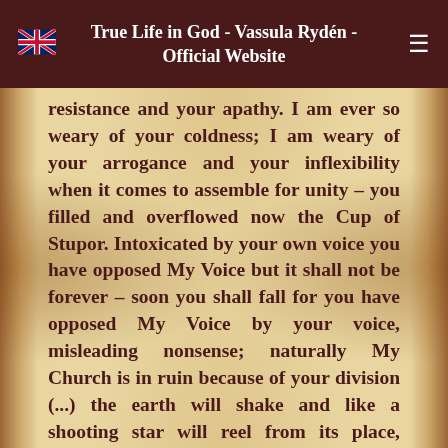True Life in God - Vassula Rydén - Official Website
resistance and your apathy. I am ever so weary of your coldness; I am weary of your arrogance and your inflexibility when it comes to assemble for unity – you filled and overflowed now the Cup of Stupor. Intoxicated by your own voice you have opposed My Voice but it shall not be forever – soon you shall fall for you have opposed My Voice by your voice, misleading nonsense; naturally My Church is in ruin because of your division (...) the earth will shake and like a shooting star will reel from its place, extirpating mountains and islands out of their places. Entire